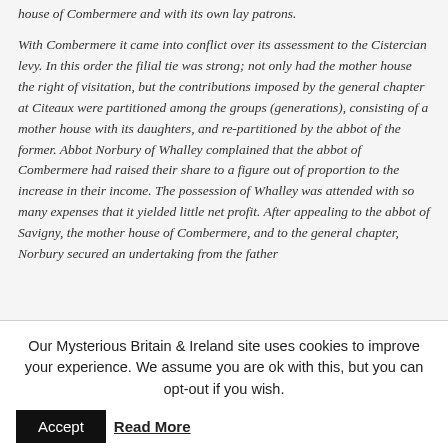house of Combermere and with its own lay patrons.
With Combermere it came into conflict over its assessment to the Cistercian levy. In this order the filial tie was strong; not only had the mother house the right of visitation, but the contributions imposed by the general chapter at Citeaux were partitioned among the groups (generations), consisting of a mother house with its daughters, and re-partitioned by the abbot of the former. Abbot Norbury of Whalley complained that the abbot of Combermere had raised their share to a figure out of proportion to the increase in their income. The possession of Whalley was attended with so many expenses that it yielded little net profit. After appealing to the abbot of Savigny, the mother house of Combermere, and to the general chapter, Norbury secured an undertaking from the father
Our Mysterious Britain & Ireland site uses cookies to improve your experience. We assume you are ok with this, but you can opt-out if you wish. Accept Read More